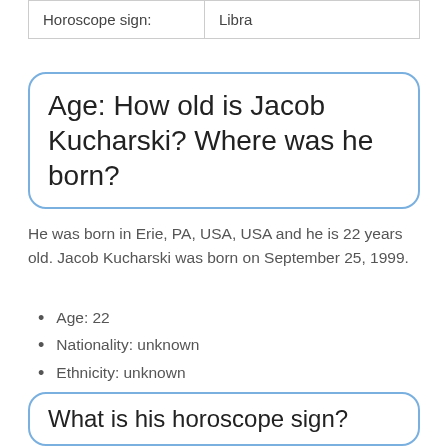| Horoscope sign: | Libra |
Age: How old is Jacob Kucharski? Where was he born?
He was born in Erie, PA, USA, USA and he is 22 years old. Jacob Kucharski was born on September 25, 1999.
Age: 22
Nationality: unknown
Ethnicity: unknown
What is his horoscope sign?
Jacob Kucharski was born under a horoscope sign of Libra, which